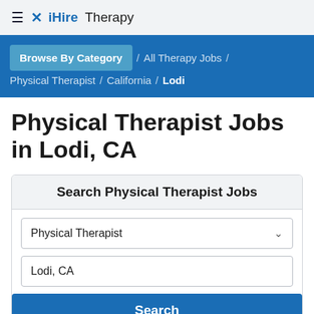≡ ✕ iHireTherapy
Browse By Category / All Therapy Jobs / Physical Therapist / California / Lodi
Physical Therapist Jobs in Lodi, CA
Search Physical Therapist Jobs
Physical Therapist
Lodi, CA
Search